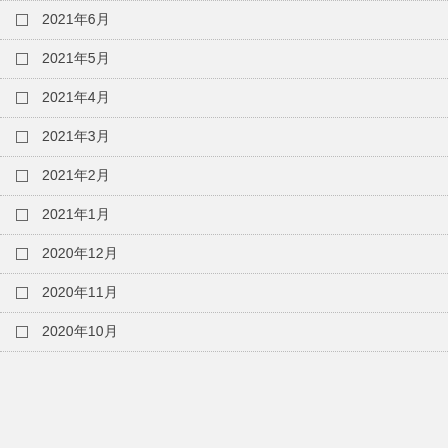2021年6月
2021年5月
2021年4月
2021年3月
2021年2月
2021年1月
2020年12月
2020年11月
2020年10月